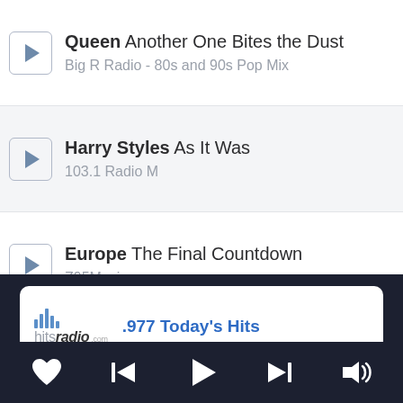Queen Another One Bites the Dust
Big R Radio - 80s and 90s Pop Mix
Harry Styles As It Was
103.1 Radio M
Europe The Final Countdown
Z95Music.com
Rick Astley Never Gonna Give You Up
PowerHITZ 107.5fm
4 Non Blondes What's Up?
98.7 Frank FM
Natalie Imbruglia Torn
.977 Today's Hits
hitsradio.com